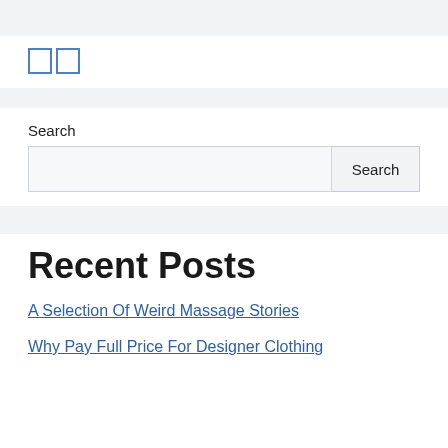[Figure (logo): Two blue outlined rectangles side by side forming a logo icon]
Search
Search input field with Search button
Recent Posts
A Selection Of Weird Massage Stories
Why Pay Full Price For Designer Clothing